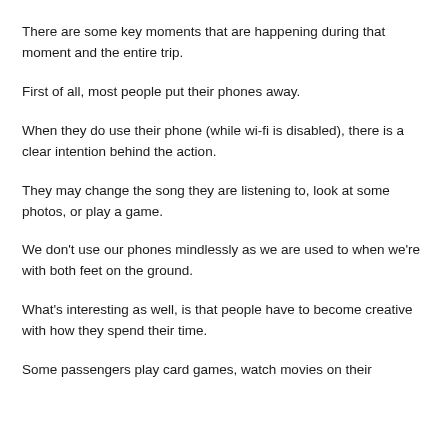There are some key moments that are happening during that moment and the entire trip.
First of all, most people put their phones away.
When they do use their phone (while wi-fi is disabled), there is a clear intention behind the action.
They may change the song they are listening to, look at some photos, or play a game.
We don't use our phones mindlessly as we are used to when we're with both feet on the ground.
What's interesting as well, is that people have to become creative with how they spend their time.
Some passengers play card games, watch movies on their